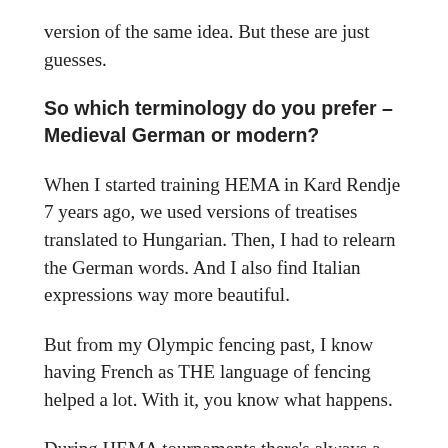version of the same idea. But these are just guesses.
So which terminology do you prefer – Medieval German or modern?
When I started training HEMA in Kard Rendje 7 years ago, we used versions of treatises translated to Hungarian. Then, I had to relearn the German words. And I also find Italian expressions way more beautiful.
But from my Olympic fencing past, I know having French as THE language of fencing helped a lot. With it, you know what happens.
During HEMA tournaments there's always a lot of arguing and people are getting upset because fencers don't always understand what the judge describes. Even if they're speaking literally the same language, participants, judges,